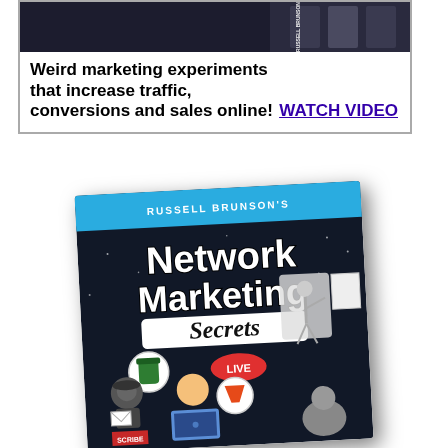[Figure (other): Advertisement banner with dark book/product image at top right, showing a book by Russell Brunson]
Weird marketing experiments that increase traffic, conversions and sales online!
WATCH VIDEO
[Figure (illustration): Russell Brunson's Network Marketing Secrets book cover illustration showing cartoon characters including a presenter at whiteboard, a person at laptop with LIVE badge, speech bubbles with supplement bottle and funnel icon, and an audience]